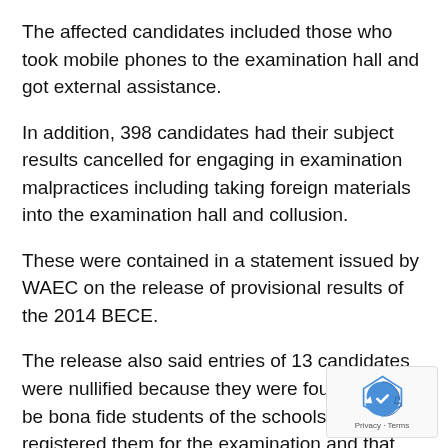The affected candidates included those who took mobile phones to the examination hall and got external assistance.
In addition, 398 candidates had their subject results cancelled for engaging in examination malpractices including taking foreign materials into the examination hall and collusion.
These were contained in a statement issued by WAEC on the release of provisional results of the 2014 BECE.
The release also said entries of 13 candidates were nullified because they were found not to be bona fide students of the schools which registered them for the examination and that their continuous assessment scores had been forged.